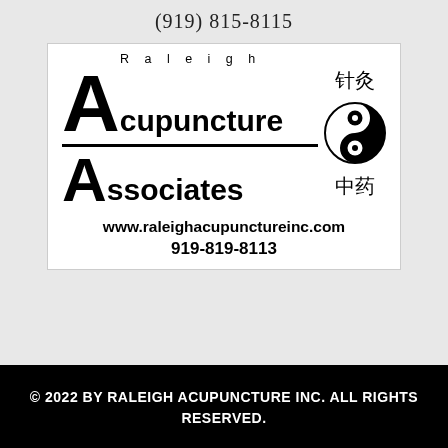(919) 815-8115
[Figure (logo): Raleigh Acupuncture Associates logo with large stylized 'A', Chinese characters 针灸 and 中药, yin-yang symbol, website www.raleighacupunctureinc.com and phone 919-819-8113]
© 2022 BY RALEIGH ACUPUNCTURE INC. ALL RIGHTS RESERVED.